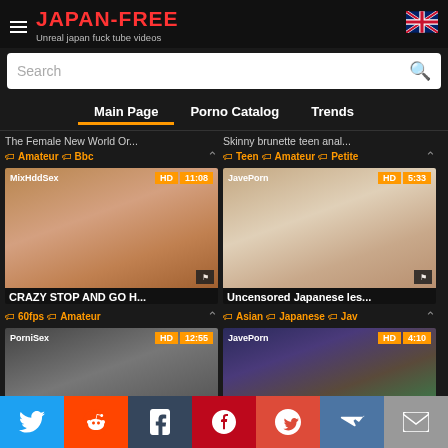JAPAN-FREE — Unreal japan fuck tube videos
Search
Main Page | Porno Catalog | Trends
The Female New World Or... | Skinny brunette teen anal...
Amateur  Bbc | Teen  Amateur  Petite
[Figure (screenshot): Video thumbnail: MixHddSex HD 11:08 — CRAZY STOP AND GO H...]
[Figure (screenshot): Video thumbnail: JavePorn HD 5:33 — Uncensored Japanese les...]
60fps  Amateur | Asian  Japanese  Jav
[Figure (screenshot): Video thumbnail: PorniSex HD 12:55 (partial)]
[Figure (screenshot): Video thumbnail: JavePorn HD 4:10 (partial)]
Social share bar: Twitter, Reddit, Tumblr, Pinterest, Google+, VK, Email